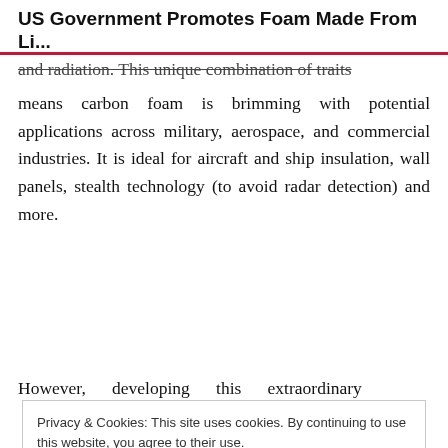US Government Promotes Foam Made From Li...
and radiation. This unique combination of traits means carbon foam is brimming with potential applications across military, aerospace, and commercial industries. It is ideal for aircraft and ship insulation, wall panels, stealth technology (to avoid radar detection) and more.
However, developing this extraordinary
Privacy & Cookies: This site uses cookies. By continuing to use this website, you agree to their use.
To find out more, including how to control cookies, see here: Cookie Policy
Close and accept
foam while keeping costs low...